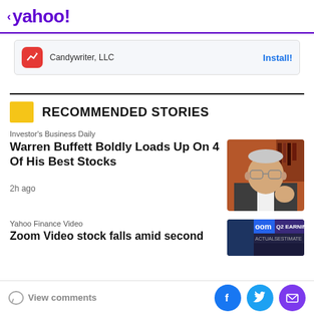< yahoo!
[Figure (screenshot): App advertisement banner: Candywriter, LLC with Install! button]
RECOMMENDED STORIES
Investor's Business Daily
Warren Buffett Boldly Loads Up On 4 Of His Best Stocks
2h ago
[Figure (photo): Photo of Warren Buffett, elderly man in suit gesturing]
Yahoo Finance Video
Zoom Video stock falls amid second
[Figure (screenshot): Zoom Q2 Earnings thumbnail]
View comments